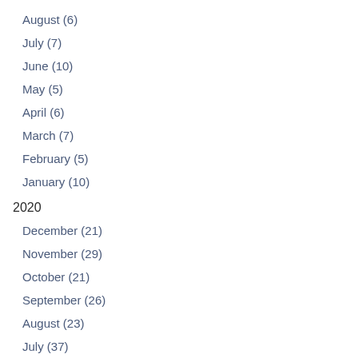August (6)
July (7)
June (10)
May (5)
April (6)
March (7)
February (5)
January (10)
2020
December (21)
November (29)
October (21)
September (26)
August (23)
July (37)
June (31)
May (22)
April (19)